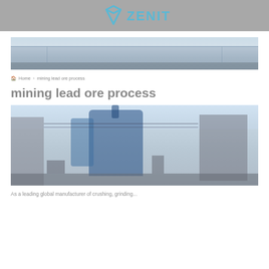ZENIT
[Figure (photo): Wide panoramic banner photo of a modern industrial/office building complex with glass facade, blue sky background]
Home > mining lead ore process
mining lead ore process
[Figure (photo): Industrial mining/crushing machinery at a plant facility, showing large blue processing equipment, pipes, and structures outdoors]
As a leading global manufacturer of crushing, grinding...